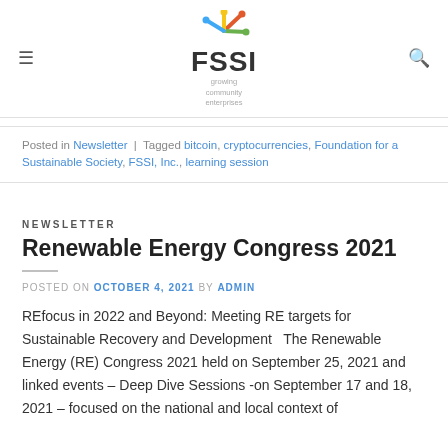FSSI — growing community enterprises
Posted in Newsletter | Tagged bitcoin, cryptocurrencies, Foundation for a Sustainable Society, FSSI, Inc., learning session
NEWSLETTER
Renewable Energy Congress 2021
POSTED ON OCTOBER 4, 2021 BY ADMIN
REfocus in 2022 and Beyond: Meeting RE targets for Sustainable Recovery and Development  The Renewable Energy (RE) Congress 2021 held on September 25, 2021 and linked events – Deep Dive Sessions -on September 17 and 18, 2021 – focused on the national and local context of